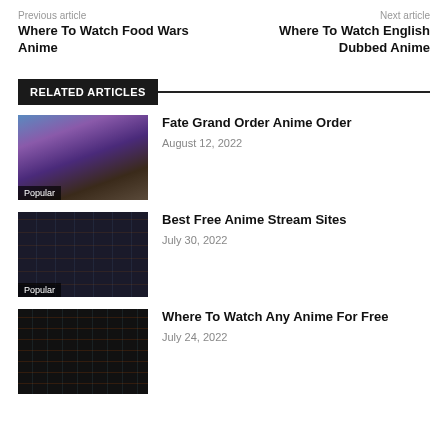Previous article | Where To Watch Food Wars Anime
Next article | Where To Watch English Dubbed Anime
RELATED ARTICLES
[Figure (photo): Anime group characters from Fate Grand Order, colorful sky background, labeled Popular]
Fate Grand Order Anime Order
August 12, 2022
[Figure (screenshot): Anime streaming site grid of show thumbnails on dark background, labeled Popular]
Best Free Anime Stream Sites
July 30, 2022
[Figure (screenshot): Anime streaming website with colorful show thumbnails on dark background]
Where To Watch Any Anime For Free
July 24, 2022